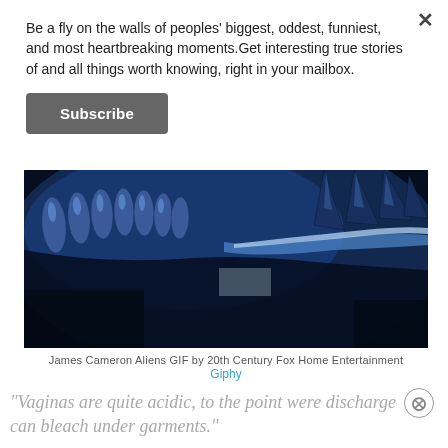Be a fly on the walls of peoples' biggest, oddest, funniest, and most heartbreaking moments.Get interesting true stories of and all things worth knowing, right in your mailbox.
Subscribe
[Figure (photo): Close-up of an alien creature from James Cameron's Aliens film, showing the creature's teeth and jaw in a dark blue-toned scene]
James Cameron Aliens GIF by 20th Century Fox Home Entertainment
Giphy
"Vaginas are quite acidic, to the point were discharge can bleach under garments."